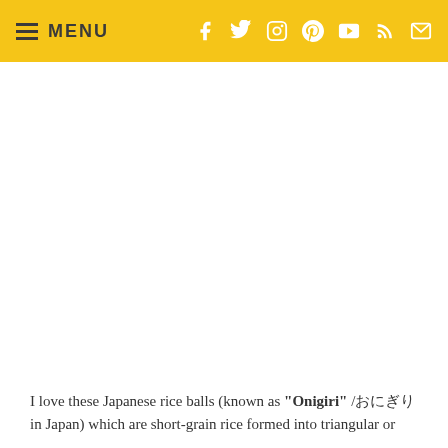MENU
[Figure (photo): Large image area (white/blank) showing Japanese rice balls (onigiri)]
I love these Japanese rice balls (known as "Onigiri" /おにぎり in Japan) which are short-grain rice formed into triangular or